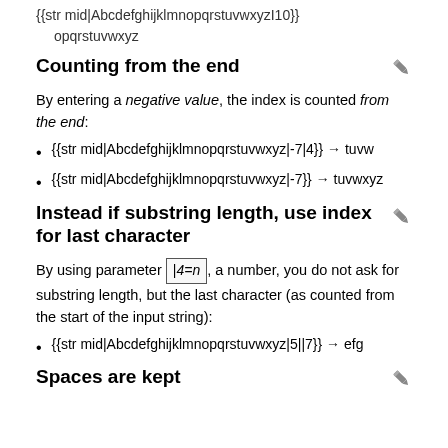{{str mid|AbcdefghijklmnopqrstuvwxyzI10}} opqrstuvwxyz
Counting from the end
By entering a negative value, the index is counted from the end:
{{str mid|Abcdefghijklmnopqrstuvwxyz|-7|4}} → tuvw
{{str mid|Abcdefghijklmnopqrstuvwxyz|-7}} → tuvwxyz
Instead if substring length, use index for last character
By using parameter |4=n, a number, you do not ask for substring length, but the last character (as counted from the start of the input string):
{{str mid|Abcdefghijklmnopqrstuvwxyz|5||7}} → efg
Spaces are kept